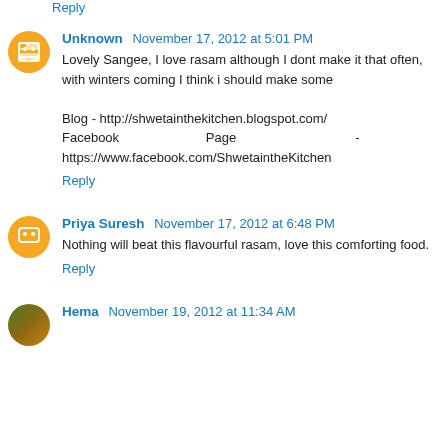Reply
Unknown November 17, 2012 at 5:01 PM
Lovely Sangee, I love rasam although I dont make it that often, with winters coming I think i should make some

Blog - http://shwetainthekitchen.blogspot.com/
Facebook Page - https://www.facebook.com/ShwetaintheKitchen
Reply
Priya Suresh November 17, 2012 at 6:48 PM
Nothing will beat this flavourful rasam, love this comforting food.
Reply
Hema November 19, 2012 at 11:34 AM